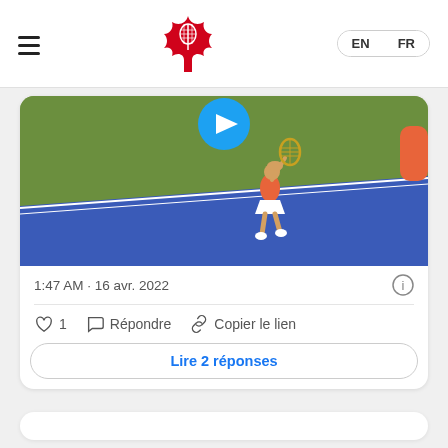[Figure (screenshot): Tennis Canada website header with hamburger menu, red maple leaf with tennis racket logo, and EN/FR language toggle buttons]
[Figure (photo): Screenshot of a tweet showing a tennis player on a green and blue hard court, hitting a shot. A blue circular play button icon is visible at the top of the image.]
1:47 AM · 16 avr. 2022
1  Répondre  Copier le lien
Lire 2 réponses